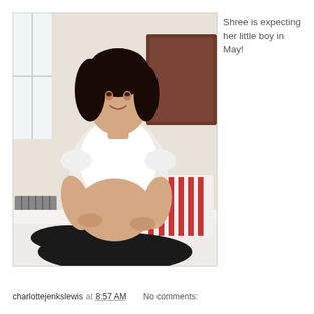[Figure (photo): A pregnant woman with dark hair wearing a white t-shirt and black pants, sitting on a bed with white bedding and a red and white striped pillow. She is smiling and cradling her baby bump. A radiator and window are visible in the background left.]
Shree is expecting her little boy in May!
charlottejenkslewis at 8:57 AM    No comments: